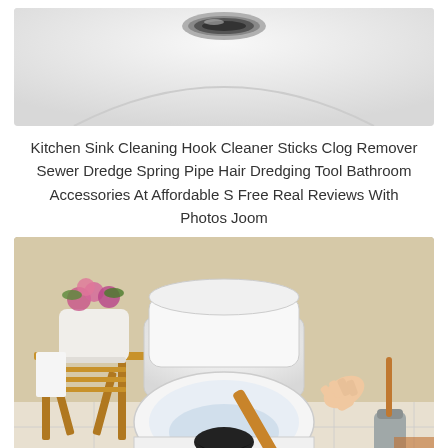[Figure (photo): Close-up photo of a bathroom sink drain, showing a chrome drain stopper from above on a white sink surface]
Kitchen Sink Cleaning Hook Cleaner Sticks Clog Remover Sewer Dredge Spring Pipe Hair Dredging Tool Bathroom Accessories At Affordable S Free Real Reviews With Photos Joom
[Figure (photo): Photo of a white toilet with the lid open, a person's hand holding a wooden-handled black rubber plunger inserted into the bowl. A wooden folding stool with a white plant pot and pink flowers sits to the left. A stainless steel toilet brush holder is visible to the right.]